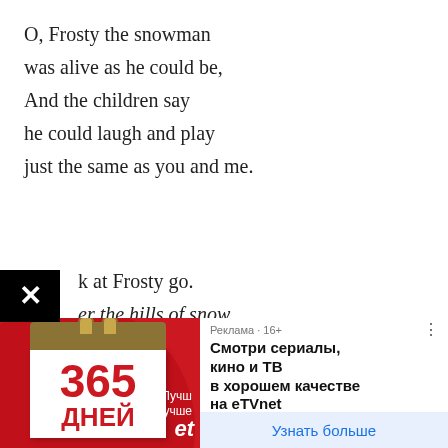O, Frosty the snowman
was alive as he could be,
And the children say
he could laugh and play
just the same as you and me.
...k at Frosty go.
...er the hills of snow.
[Figure (screenshot): Advertisement banner for eTVnet streaming service. Left side shows a red background with a calendar showing '365 ДНЕЙ' (365 days). Right side shows Russian text: 'Реклама · 16+', 'Смотри сериалы, кино и ТВ в хорошем качестве на eTVnet', 'Большая коллекция фильмов и сериалов. Доступ на любом устройстве. Присоединяйтесь!', 'etvnet.com', and a button 'Узнать больше'.]